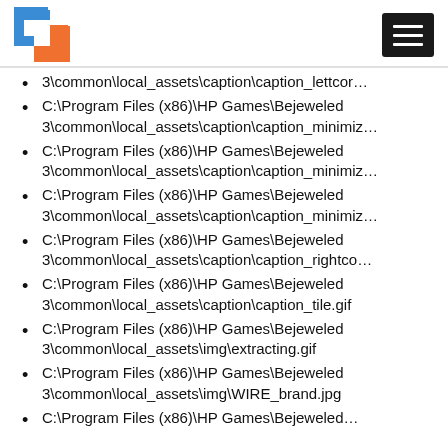[Logo] [Hamburger menu]
C:\Program Files (x86)\HP Games\Bejeweled 3\common\local_assets\caption\caption_lettcor…
C:\Program Files (x86)\HP Games\Bejeweled 3\common\local_assets\caption\caption_minimiz…
C:\Program Files (x86)\HP Games\Bejeweled 3\common\local_assets\caption\caption_minimiz…
C:\Program Files (x86)\HP Games\Bejeweled 3\common\local_assets\caption\caption_minimiz…
C:\Program Files (x86)\HP Games\Bejeweled 3\common\local_assets\caption\caption_rightco…
C:\Program Files (x86)\HP Games\Bejeweled 3\common\local_assets\caption\caption_tile.gif
C:\Program Files (x86)\HP Games\Bejeweled 3\common\local_assets\img\extracting.gif
C:\Program Files (x86)\HP Games\Bejeweled 3\common\local_assets\img\WIRE_brand.jpg
C:\Program Files (x86)\HP Games\Bejeweled…